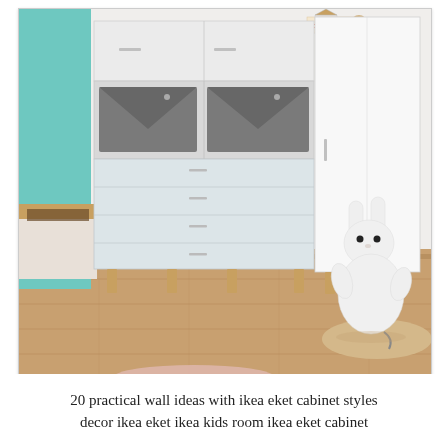[Figure (photo): A children's room with white IKEA EKET cabinet combination featuring open shelves with gray fabric storage boxes, drawers in light blue-gray, a tall single-door cabinet section, all on wooden legs. A large white Miffy bunny lamp sits on a woven rug to the right. A small house-shaped decoration labeled 'GIRLS ONLY' sits on top of the cabinet. The room has a teal/mint accent panel on the left wall and light wood flooring.]
20 practical wall ideas with ikea eket cabinet styles decor ikea eket ikea kids room ikea eket cabinet